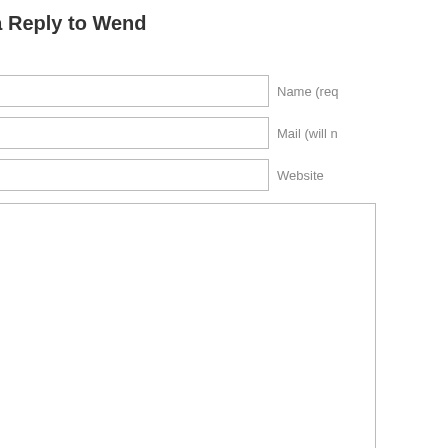« Older Comments Leave a Reply to Wend
Click here to cancel reply.
Name (required)
Mail (will not be published) (required)
Website
Submit Comment
Confirm you are NOT a spammer
Disclaimer: All material on this website is provided for your information only and may not be construed or intended to be used for diagnostic purposes. Consult with your phy...